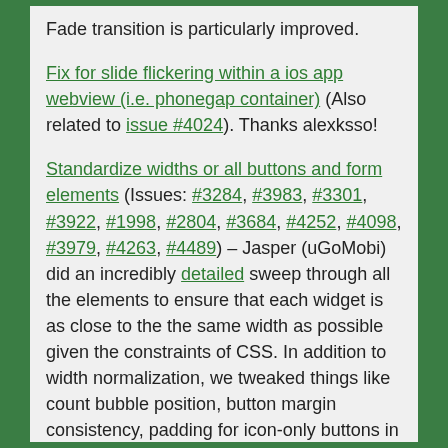Fade transition is particularly improved.
Fix for slide flickering within a ios app webview (i.e. phonegap container) (Also related to issue #4024). Thanks alexksso!
Standardize widths or all buttons and form elements (Issues: #3284, #3983, #3301, #3922, #1998, #2804, #3684, #4252, #4098, #3979, #4263, #4489) – Jasper (uGoMobi) did an incredibly detailed sweep through all the elements to ensure that each widget is as close to the the same width as possible given the constraints of CSS. In addition to width normalization, we tweaked things like count bubble position, button margin consistency, padding for icon-only buttons in controlgroup, etc.
All buttons, regardless of markup, are now mini by default in toolbars – This was an implicit behavior in 1.0, but now we automatically make buttons the